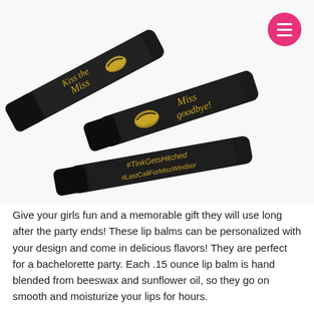[Figure (photo): Three black cylindrical lip balm tubes arranged diagonally. The tubes have gold script text and gold lip print designs. Text on tubes reads 'Kiss the Miss', 'Miss Goodbye!', '#TinkGetsHitched', '#LastCallForMissWindsor'.]
Give your girls fun and a memorable gift they will use long after the party ends! These lip balms can be personalized with your design and come in delicious flavors! They are perfect for a bachelorette party. Each .15 ounce lip balm is hand blended from beeswax and sunflower oil, so they go on smooth and moisturize your lips for hours.